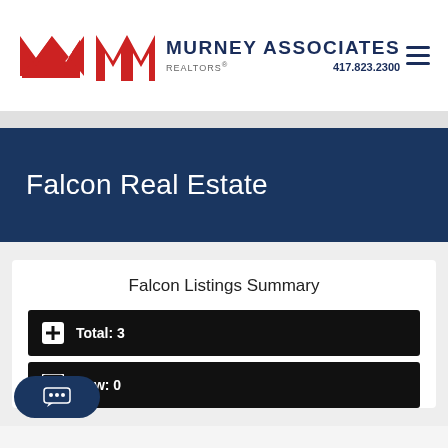MURNEY ASSOCIATES REALTORS® 417.823.2300
Falcon Real Estate
Falcon Listings Summary
Total: 3
New: 0